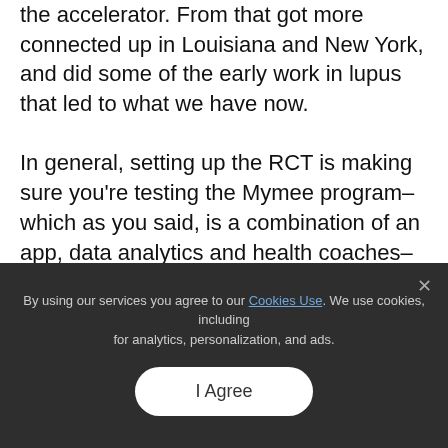the accelerator. From that got more connected up in Louisiana and New York, and did some of the early work in lupus that led to what we have now.

In general, setting up the RCT is making sure you're testing the Mymee program– which as you said, is a combination of an app, data analytics and health coaches– and we can get into more details about the value of that later, versus standard of care alone. Do we see improvements versus what people are on? People are generally on medications for autoimmune disorders, so we're not replacing that. It's just an addition.
By using our services you agree to our Cookies Use. We use cookies, including for analytics, personalization, and ads.
I Agree